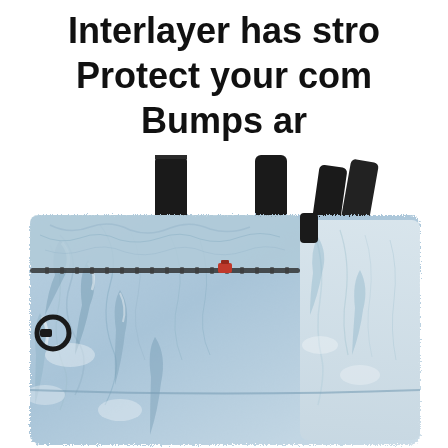Interlayer has stro
Protect your com
Bumps ar
[Figure (photo): Close-up photo of a laptop shoulder bag/messenger bag with a winter snowy forest scene printed on the fabric. The bag has black top handles, a black strap ring, a zipper, and a small orange/red zipper pull. The printed design shows snow-covered trees in blue and white tones.]